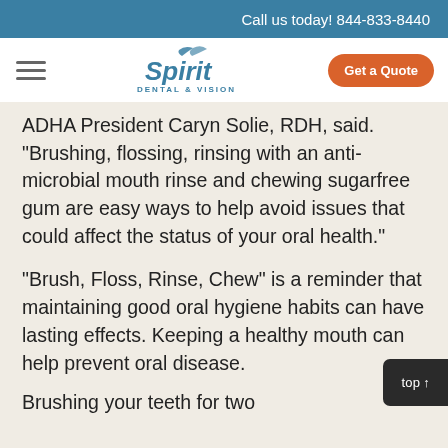Call us today! 844-833-8440
[Figure (logo): Spirit Dental & Vision logo with bird icon]
ADHA President Caryn Solie, RDH, said. "Brushing, flossing, rinsing with an anti-microbial mouth rinse and chewing sugarfree gum are easy ways to help avoid issues that could affect the status of your oral health."
"Brush, Floss, Rinse, Chew" is a reminder that maintaining good oral hygiene habits can have lasting effects. Keeping a healthy mouth can help prevent oral disease.
Brushing your teeth for two